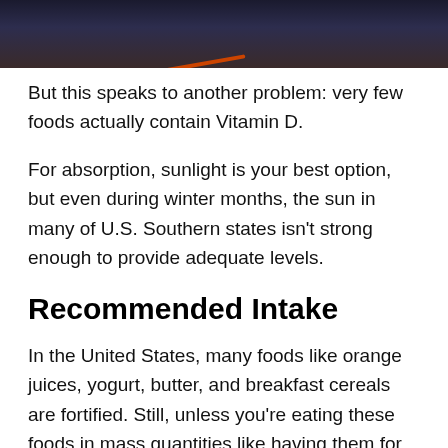[Figure (photo): Dark photograph, partially visible at the top of the page, showing a dark background with reddish/orange element.]
But this speaks to another problem: very few foods actually contain Vitamin D.
For absorption, sunlight is your best option, but even during winter months, the sun in many of U.S. Southern states isn't strong enough to provide adequate levels.
Recommended Intake
In the United States, many foods like orange juices, yogurt, butter, and breakfast cereals are fortified. Still, unless you're eating these foods in mass quantities like having them for breakfast and Brinner (my fav) with 30 minutes